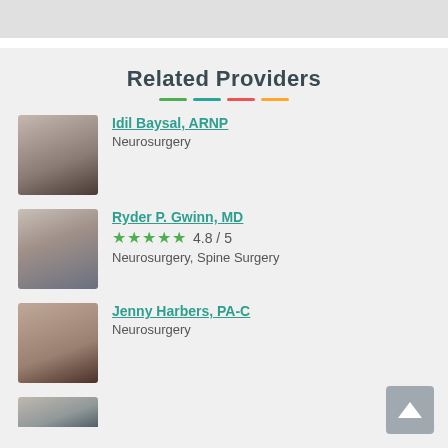Related Providers
[Figure (photo): Photo of Idil Baysal, a woman in professional attire]
Idil Baysal, ARNP
Neurosurgery
[Figure (photo): Photo of Ryder P. Gwinn, a middle-aged man with glasses]
Ryder P. Gwinn, MD
4.8 / 5
Neurosurgery, Spine Surgery
[Figure (photo): Photo of Jenny Harbers, a woman with short hair]
Jenny Harbers, PA-C
Neurosurgery
[Figure (photo): Partially visible photo of a fourth provider]